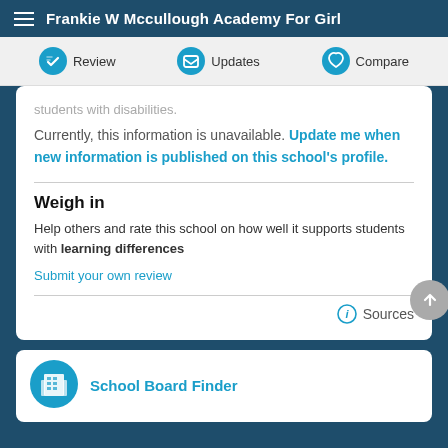Frankie W Mccullough Academy For Girl
Review  Updates  Compare
students with disabilities.
Currently, this information is unavailable. Update me when new information is published on this school's profile.
Weigh in
Help others and rate this school on how well it supports students with learning differences
Submit your own review
Sources
School Board Finder